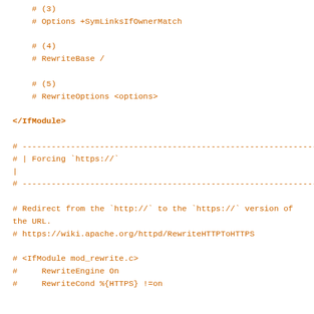# (3)
# Options +SymLinksIfOwnerMatch

# (4)
# RewriteBase /

# (5)
# RewriteOptions <options>

</IfModule>

# ------------------------------------------------------------------------------
# | Forcing `https://`
|
# ------------------------------------------------------------------------------

# Redirect from the `http://` to the `https://` version of the URL.
# https://wiki.apache.org/httpd/RewriteHTTPToHTTPS

# <IfModule mod_rewrite.c>
#     RewriteEngine On
#     RewriteCond %{HTTPS} !=on